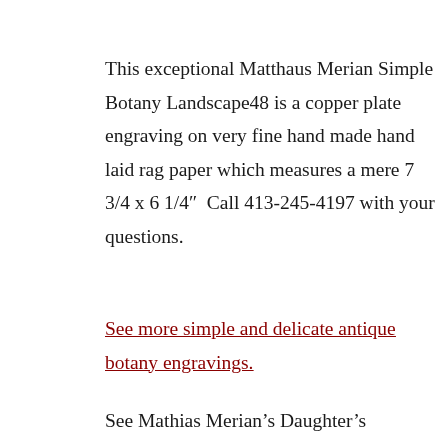This exceptional Matthaus Merian Simple Botany Landscape48 is a copper plate engraving on very fine hand made hand laid rag paper which measures a mere 7 3/4 x 6 1/4″  Call 413-245-4197 with your questions.
See more simple and delicate antique botany engravings.
See Mathias Merian’s Daughter’s